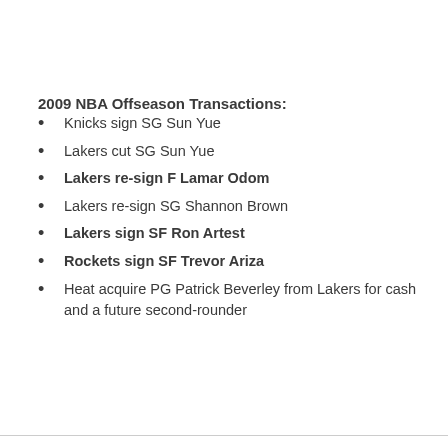2009 NBA Offseason Transactions:
Knicks sign SG Sun Yue
Lakers cut SG Sun Yue
Lakers re-sign F Lamar Odom
Lakers re-sign SG Shannon Brown
Lakers sign SF Ron Artest
Rockets sign SF Trevor Ariza
Heat acquire PG Patrick Beverley from Lakers for cash and a future second-rounder